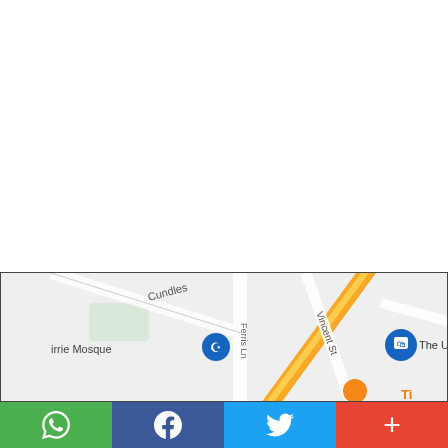[Figure (map): Google Maps screenshot showing streets including Cundles, Ferris Ln, Vincent St, Alliance Blvd, Bell Farm Rd, with landmarks including Currie Mosque and The UPS Store. A yellow highway runs diagonally. Blue place markers visible.]
[Figure (infographic): Social share bar with four buttons: WhatsApp (green), Facebook (dark blue), Twitter (light blue), Google Plus (red).]